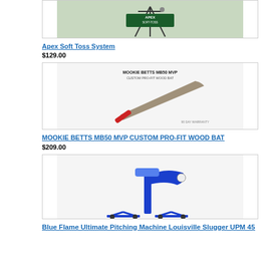[Figure (photo): Apex Soft Toss System product image showing a pitching toss machine on a tripod stand with 'APEX SOFT-TOSS' branding]
Apex Soft Toss System
$129.00
[Figure (photo): Mookie Betts MB50 MVP Custom Pro-Fit Wood Bat product image showing a brown/grey baseball bat with red handle grip]
MOOKIE BETTS MB50 MVP CUSTOM PRO-FIT WOOD BAT
$209.00
[Figure (photo): Blue Flame Ultimate Pitching Machine Louisville Slugger UPM 45 product image showing a blue mechanical pitching machine]
Blue Flame Ultimate Pitching Machine Louisville Slugger UPM 45